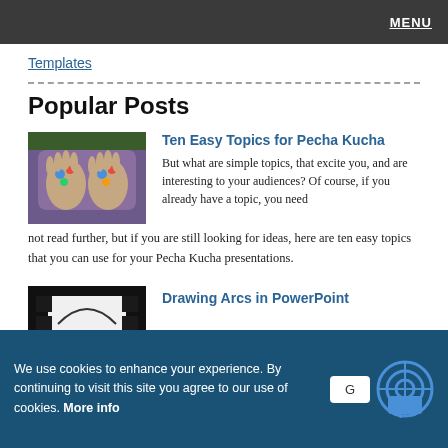MENU
Templates
Popular Posts
[Figure (photo): Child holding up both hands with colorful paint on palms, wearing purple shirt]
Ten Easy Topics for Pecha Kucha
But what are simple topics, that excite you, and are interesting to your audiences? Of course, if you already have a topic, you need not read further, but if you are still looking for ideas, here are ten easy topics that you can use for your Pecha Kucha presentations.
[Figure (screenshot): Thumbnail for Drawing Arcs in PowerPoint post, dark background with curved line graphic]
Drawing Arcs in PowerPoint
We use cookies to enhance your experience. By continuing to visit this site you agree to our use of cookies. More info